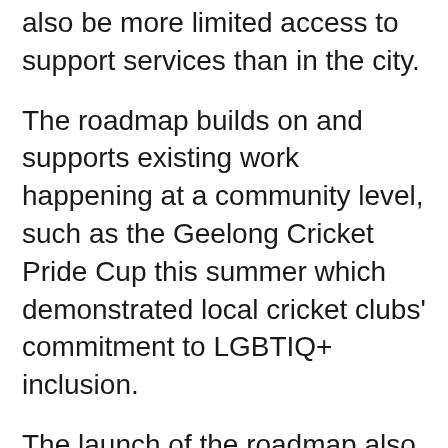also be more limited access to support services than in the city.
The roadmap builds on and supports existing work happening at a community level, such as the Geelong Cricket Pride Cup this summer which demonstrated local cricket clubs' commitment to LGBTIQ+ inclusion.
The launch of the roadmap also aligns with the vision of state's first long-term plan to drive LGBTIQ+ equality, Pride in our future, released in February – to ensure all Victorians feel safe, are healthy, have equal human rights and can live wholly and freely.
To access or learn more about the Rainbow Road Roadmap, please visit...